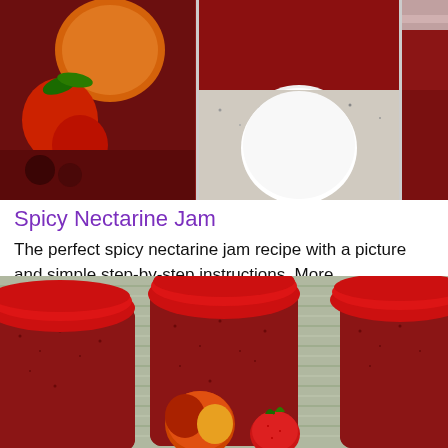[Figure (photo): Three-panel collage of jam jars and fruit: left panel shows a decorative jar with fruit illustration and strawberries, center panel shows dark red jam filling in a pot and a white jar lid on a granite surface, right panel shows dark red jam in a large pot or jar]
Spicy Nectarine Jam
The perfect spicy nectarine jam recipe with a picture and simple step-by-step instructions. More...
[Figure (photo): Four glass jars filled with red jam and sealed with red lids, arranged on a woven surface with a fresh nectarine and strawberry in front]